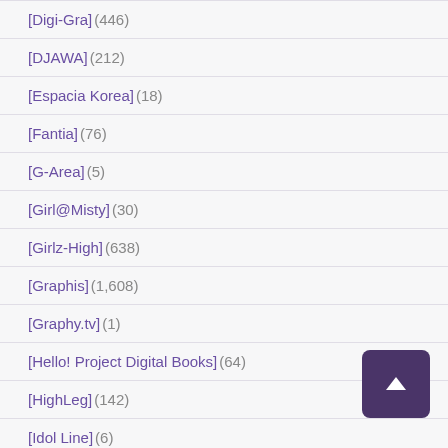[Digi-Gra] (446)
[DJAWA] (212)
[Espacia Korea] (18)
[Fantia] (76)
[G-Area] (5)
[Girl@Misty] (30)
[Girlz-High] (638)
[Graphis] (1,608)
[Graphy.tv] (1)
[Hello! Project Digital Books] (64)
[HighLeg] (142)
[Idol Line] (6)